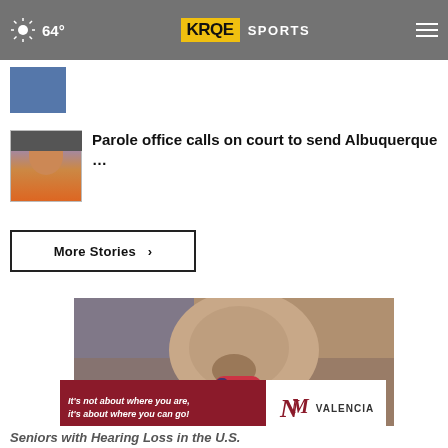64° KRQE SPORTS
[Figure (screenshot): Thumbnail image strip showing a partially visible person in blue shirt]
Parole office calls on court to send Albuquerque ...
More Stories ›
[Figure (photo): Close-up photo of a person's ear with a hearing aid device inserted]
[Figure (logo): UNM Valencia advertisement banner: It's not about where you are, it's about where you can go!]
Seniors with Hearing Loss in the U.S.